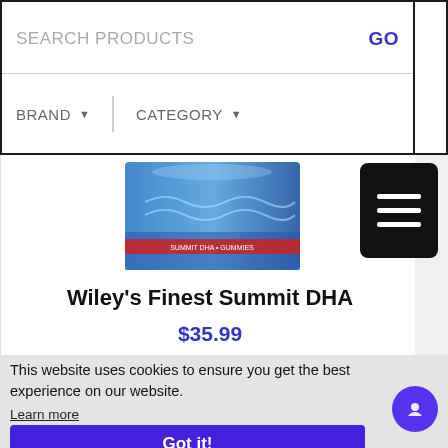SEARCH PRODUCTS  GO  BRAND ▼  CATEGORY ▼
[Figure (photo): Wiley's Finest Summit DHA product box in blue packaging, partially visible at top]
[Figure (screenshot): Black hamburger menu button with three white horizontal lines]
Wiley's Finest Summit DHA
$35.99
This website uses cookies to ensure you get the best experience on our website.
Learn more
Got it!
[Figure (photo): Bottom strip of a red product image, partially visible]